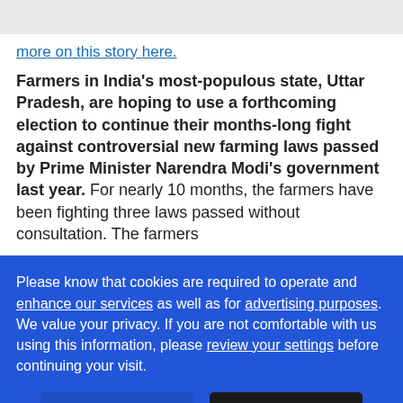more on this story here.
Farmers in India's most-populous state, Uttar Pradesh, are hoping to use a forthcoming election to continue their months-long fight against controversial new farming laws passed by Prime Minister Narendra Modi's government last year. For nearly 10 months, the farmers have been fighting three laws passed without consultation. The farmers
Please know that cookies are required to operate and enhance our services as well as for advertising purposes. We value your privacy. If you are not comfortable with us using this information, please review your settings before continuing your visit.
Learn more
✕ Close